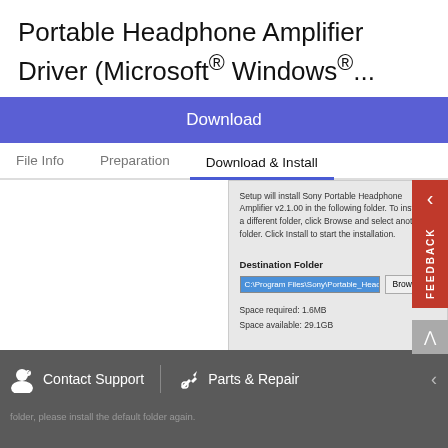Portable Headphone Amplifier Driver (Microsoft® Windows®...
[Figure (screenshot): Download button (blue/purple background) with 'Download' text in white]
File Info   Preparation   Download & Install
[Figure (screenshot): Windows installer dialog showing Destination Folder with path C:\Program Files\Sony\Portable_Headphone_Amplifie, Browse button, Space required: 1.6MB, Space available: 29.1GB]
Contact Support   Parts & Repair
folder, please install the default folder again.